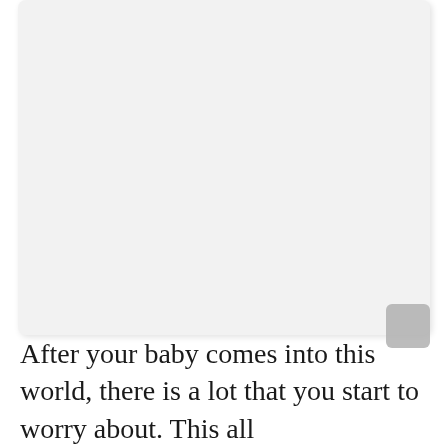[Figure (photo): A large light gray placeholder image box with rounded corners and a subtle drop shadow, occupying the upper portion of the page.]
After your baby comes into this world, there is a lot that you start to worry about. This all